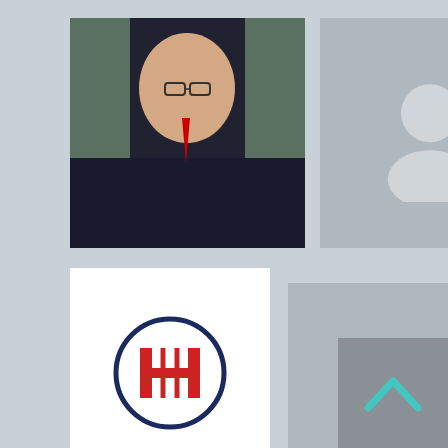[Figure (photo): Professional headshot of a young man with glasses in a dark suit and red tie, photographed outdoors against a modern building background.]
[Figure (photo): Grey placeholder silhouette icon for missing profile photo.]
[Figure (photo): Grey placeholder silhouette icon for missing profile photo.]
[Figure (logo): Company logo: a circle with a stylized H-like symbol in red and dark navy border.]
[Figure (photo): Grey placeholder silhouette icon for missing profile photo.]
[Figure (photo): Professional headshot of a woman with dark hair in a black blazer, arms crossed, photographed against an urban building background.]
[Figure (photo): Professional headshot of an older man with grey hair and beard, smiling.]
[Figure (photo): Professional headshot of a middle-aged man in a dark suit, blurred office background.]
[Figure (photo): Professional headshot of a man in a dark suit with a grey tie.]
[Figure (photo): Grey placeholder silhouette icon for missing profile photo.]
[Figure (photo): Professional headshot of a younger man of South Asian descent in a suit, seated at a desk.]
[Figure (photo): Grey placeholder silhouette icon for missing profile photo.]